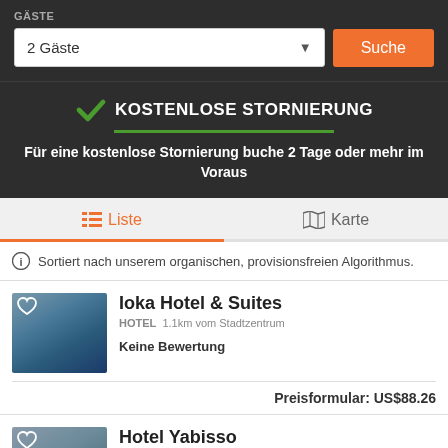GÄSTE
2 Gäste
Suche
KOSTENLOSE STORNIERUNG
Für eine kostenlose Stornierung buche 2 Tage oder mehr im Voraus
Liste
Karte
Sortiert nach unserem organischen, provisionsfreien Algorithmus.
Ioka Hotel & Suites
HOTEL  1.1km vom Stadtzentrum
Keine Bewertung
Preisformular: US$88.26
Hotel Yabisso